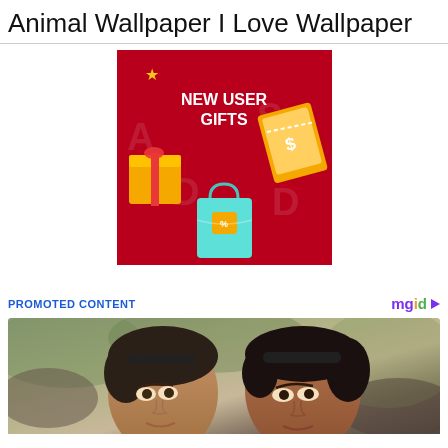Animal Wallpaper I Love Wallpaper
[Figure (illustration): Red background advertisement banner with 'NEW USER GIFTS' text in white bold letters, a gold gift box on the left, a dollar coupon on the right, a teal shopping bag with percent tag at the bottom center, decorative watermark letters, and a gold star in the upper left.]
PROMOTED CONTENT
[Figure (photo): A photo of two people posing together — a young man with sunglasses on his head on the left and a woman with dark hair and sunglasses on her head on the right, outdoors with blurred greenery in the background.]